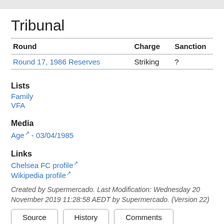Tribunal
| Round | Charge | Sanction |
| --- | --- | --- |
| Round 17, 1986 Reserves | Striking | ? |
Lists
Family
VFA
Media
Age ↗ - 03/04/1985
Links
Chelsea FC profile ↗
Wikipedia profile ↗
Created by Supermercado. Last Modification: Wednesday 20 November 2019 11:28:58 AEDT by Supermercado. (Version 22)
Source | History | Comments